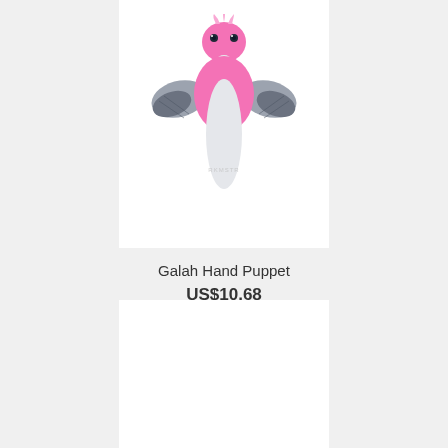[Figure (photo): A pink and grey Galah hand puppet toy with wings spread out and a white beak/neck area, shown against a white background. Watermark text visible in center.]
Galah Hand Puppet
US$10.68
[Figure (photo): A white/blank product image area, partially visible at the bottom of the page.]